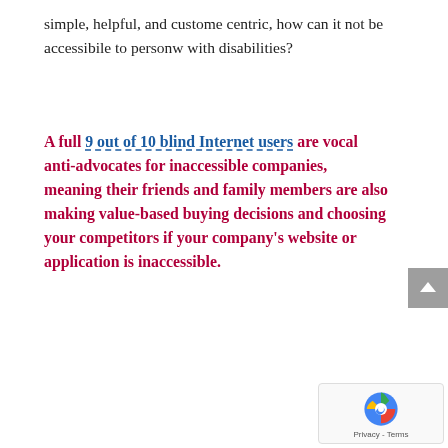simple, helpful, and custome centric, how can it not be accessibile to personw with disabilities?
A full 9 out of 10 blind Internet users are vocal anti-advocates for inaccessible companies, meaning their friends and family members are also making value-based buying decisions and choosing your competitors if your company's website or application is inaccessible.